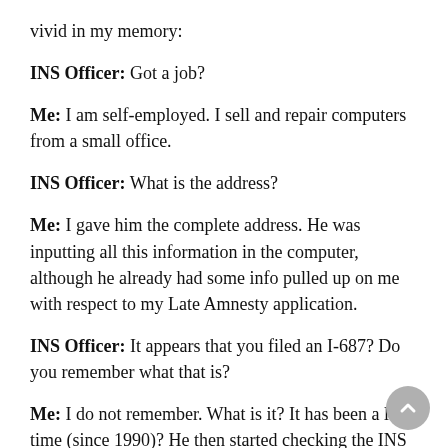vivid in my memory:
INS Officer: Got a job?
Me: I am self-employed. I sell and repair computers from a small office.
INS Officer: What is the address?
Me: I gave him the complete address. He was inputting all this information in the computer, although he already had some info pulled up on me with respect to my Late Amnesty application.
INS Officer: It appears that you filed an I-687? Do you remember what that is?
Me: I do not remember. What is it? It has been a long time (since 1990)? He then started checking the INS website then printed a sheet and read it out aloud. It was